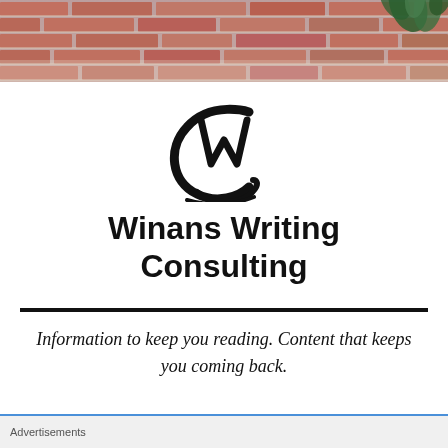[Figure (photo): A brick wall background photo with a plant visible in the top right corner, serving as a hero banner image.]
[Figure (logo): Winans Writing Consulting logo — stylized CWC monogram in brush script, a C encircling a W with a C underneath.]
Winans Writing Consulting
Information to keep you reading. Content that keeps you coming back.
Advertisements